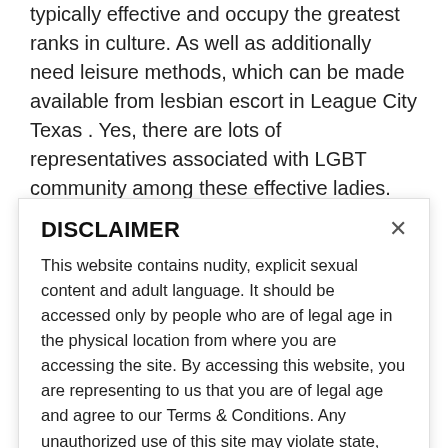typically effective and occupy the greatest ranks in culture. As well as additionally need leisure methods, which can be made available from lesbian escort in League City Texas . Yes, there are lots of representatives associated with LGBT community among these effective ladies. This is the reason also, they are the consumers of these solutions. Nonetheless, the prosperity of a individual will not
DISCLAIMER
This website contains nudity, explicit sexual content and adult language. It should be accessed only by people who are of legal age in the physical location from where you are accessing the site. By accessing this website, you are representing to us that you are of legal age and agree to our Terms & Conditions. Any unauthorized use of this site may violate state, federal and/or foreign law.
While bestadultsites.org does not create, produce or edit any